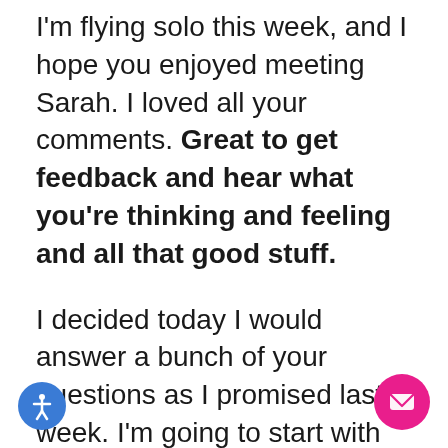I'm flying solo this week, and I hope you enjoyed meeting Sarah. I loved all your comments. Great to get feedback and hear what you're thinking and feeling and all that good stuff.
I decided today I would answer a bunch of your questions as I promised last week. I'm going to start with Judy, who's asking about dressing your age. And I say, simple; less is more. Not necessarily in adornment or patterns or colors, you have to follow your style in what turns you on.
My dilemma has always been, my whole life, that I like everything. I want to look like